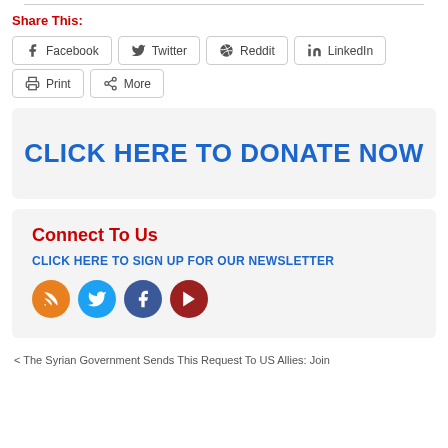Share This:
Facebook
Twitter
Reddit
LinkedIn
Print
More
[Figure (other): CLICK HERE TO DONATE NOW button banner]
Connect To Us
CLICK HERE TO SIGN UP FOR OUR NEWSLETTER
[Figure (other): Social media icons: RSS, Twitter, Facebook, YouTube]
< The Syrian Government Sends This Request To US Allies: Join